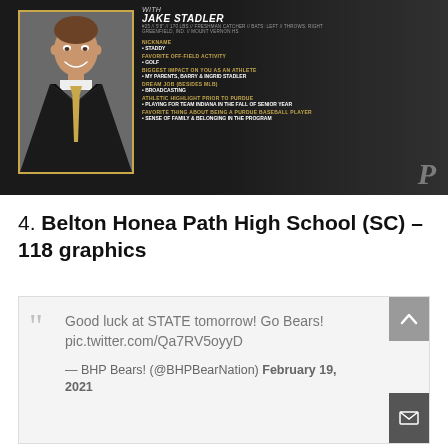[Figure (infographic): Purdue Baseball athlete profile card for Jake Stadler (#25, 5'8", 170 lbs, Freshman Catcher, Bats: Left, Throws: Right, Greenfield, IN / Mount Vernon HS). Includes photo of young man in suit with gold tie and black jacket. Lists: NICKNAME: STADDY, FAVORITE OFF-FIELD ACTIVITY: GOLF, BIGGEST IMPACT ON YOU AS AN ATHLETE: MY PARENTS, BARRY & INGRID STADLER, DREAM JOB (BESIDES MLB): BROADCASTING, ATHLETIC HIGHLIGHT PRIOR TO PURDUE: PLAYING FOR TEAM INDIANA IN THE FALL OF SENIOR YEAR, FAVORITE THING ABOUT BEING A PURDUE BASEBALL PLAYER: SENSE OF FAMILY & BELONGING IN THE PROGRAM. Purdue P logo in bottom right.]
4. Belton Honea Path High School (SC) – 118 graphics
Good luck at STATE tomorrow! Go Bears! pic.twitter.com/Qa7RV5oyyD — BHP Bears! (@BHPBearNation) February 19, 2021